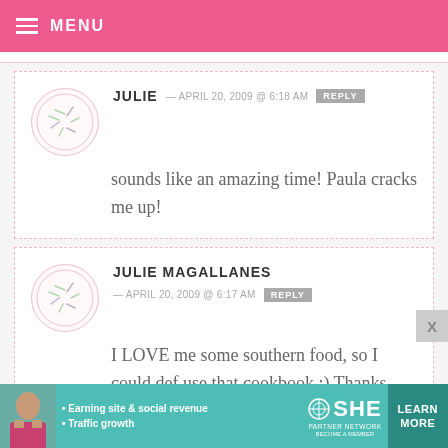MENU
JULIE — APRIL 20, 2009 @ 6:18 AM
sounds like an amazing time! Paula cracks me up!
JULIE MAGALLANES — APRIL 20, 2009 @ 6:17 AM
I LOVE me some southern food, so I could def use that cookbook :) Thanks
[Figure (infographic): SHE Partner Network advertisement banner with person photo, bullet points about Earning site & social revenue and Traffic growth, SHE logo, and Learn More button]